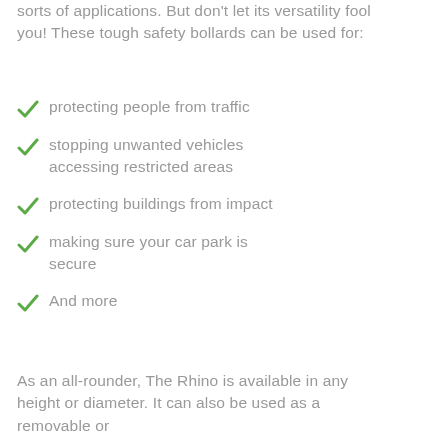sorts of applications. But don't let its versatility fool you! These tough safety bollards can be used for:
protecting people from traffic
stopping unwanted vehicles accessing restricted areas
protecting buildings from impact
making sure your car park is secure
And more
As an all-rounder, The Rhino is available in any height or diameter. It can also be used as a removable or